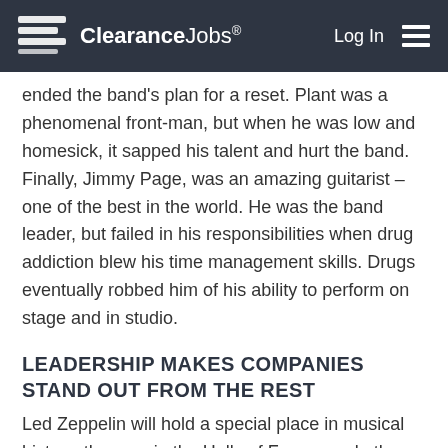ClearanceJobs® Log In ☰
ended the band's plan for a reset. Plant was a phenomenal front-man, but when he was low and homesick, it sapped his talent and hurt the band. Finally, Jimmy Page, was an amazing guitarist – one of the best in the world. He was the band leader, but failed in his responsibilities when drug addiction blew his time management skills. Drugs eventually robbed him of his ability to perform on stage and in studio.
LEADERSHIP MAKES COMPANIES STAND OUT FROM THE REST
Led Zeppelin will hold a special place in musical history, they are in the Halls of Fame, made the